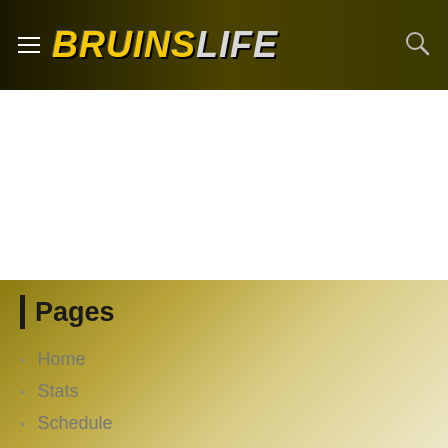BRUINSLIFE
Pages
Home
Stats
Schedule